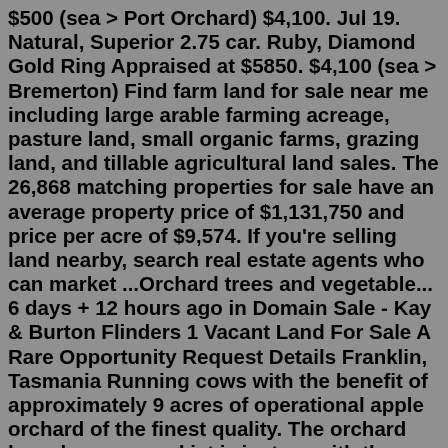$500 (sea > Port Orchard) $4,100. Jul 19. Natural, Superior 2.75 car. Ruby, Diamond Gold Ring Appraised at $5850. $4,100 (sea > Bremerton) Find farm land for sale near me including large arable farming acreage, pasture land, small organic farms, grazing land, and tillable agricultural land sales. The 26,868 matching properties for sale have an average property price of $1,131,750 and price per acre of $9,574. If you're selling land nearby, search real estate agents who can market ...Orchard trees and vegetable... 6 days + 12 hours ago in Domain Sale - Kay & Burton Flinders 1 Vacant Land For Sale A Rare Opportunity Request Details Franklin, Tasmania Running cows with the benefit of approximately 9 acres of operational apple orchard of the finest quality. The orchard has above ground jet irrigators with the water source... Orchard homes sell at or above list price 62% of the time, compared to the market average of 46%. 2x faster On average, Orchard homes sell in 13 days compared to the market average of 34 days. Enjoy a farm fresh